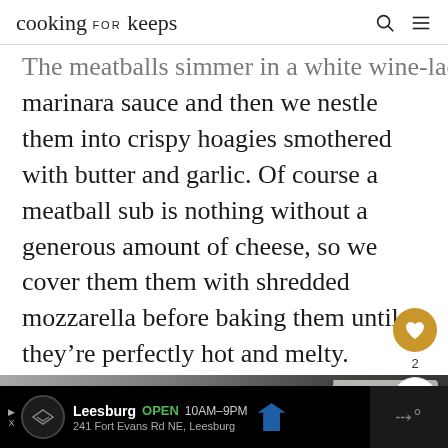cooking for keeps
The meatballs simmer in a white wine-laced marinara sauce and then we nestle them into crispy hoagies smothered with butter and garlic. Of course a meatball sub is nothing without a generous amount of cheese, so we cover them them with shredded mozzarella before baking them until they're perfectly hot and melty.
[Figure (photo): Food photograph showing a white plate/bowl in the upper left, dark background/surface, and a decorative element in the lower right corner.]
Leesburg OPEN 10AM–9PM 241 Fort Evans Rd NE, Leesburg